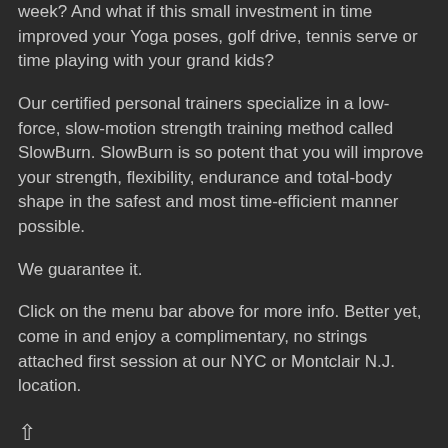week? And what if this small investment in time improved your Yoga poses, golf drive, tennis serve or time playing with your grand kids?
Our certified personal trainers specialize in a low-force, slow-motion strength training method called SlowBurn. SlowBurn is so potent that you will improve your strength, flexibility, endurance and total-body shape in the safest and most time-efficient manner possible.
We guarantee it.
Click on the menu bar above for more info. Better yet, come in and enjoy a complimentary, no strings attached first session at our NYC or Montclair N.J. location.
↑
Using our SlowBurn personal training